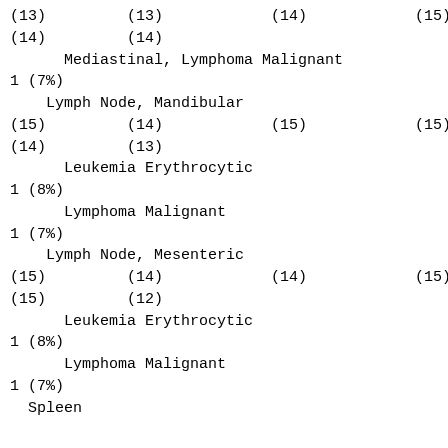(13)         (13)            (14)            (15)
(14)         (14)
Mediastinal, Lymphoma Malignant
1 (7%)
Lymph Node, Mandibular
(15)         (14)            (15)            (15)
(14)         (13)
Leukemia Erythrocytic
1 (8%)
Lymphoma Malignant
1 (7%)
Lymph Node, Mesenteric
(15)         (14)            (14)            (15)
(15)         (12)
Leukemia Erythrocytic
1 (8%)
Lymphoma Malignant
1 (7%)
Spleen